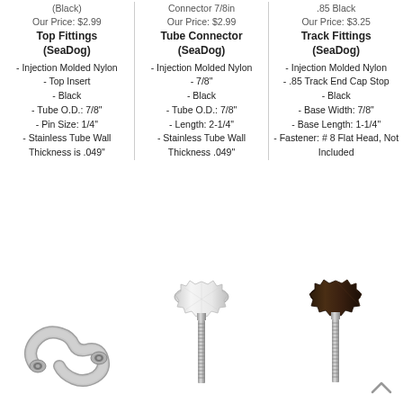(Black)
Our Price: $2.99
Connector 7/8in
Our Price: $2.99
.85 Black
Our Price: $3.25
Top Fittings (SeaDog)
Tube Connector (SeaDog)
Track Fittings (SeaDog)
- Injection Molded Nylon
- Top Insert
- Black
- Tube O.D.: 7/8"
- Pin Size: 1/4"
- Stainless Tube Wall Thickness is .049"
- Injection Molded Nylon
- 7/8"
- Black
- Tube O.D.: 7/8"
- Length: 2-1/4"
- Stainless Tube Wall Thickness .049"
- Injection Molded Nylon
- .85 Track End Cap Stop
- Black
- Base Width: 7/8"
- Base Length: 1-1/4"
- Fastener: # 8 Flat Head, Not Included
[Figure (photo): Metal S-shaped top fitting hardware piece, silver/nickel finish]
[Figure (photo): White plastic knob thumb screw with metal threaded bolt]
[Figure (photo): Dark brown/black plastic knob thumb screw with metal threaded bolt]